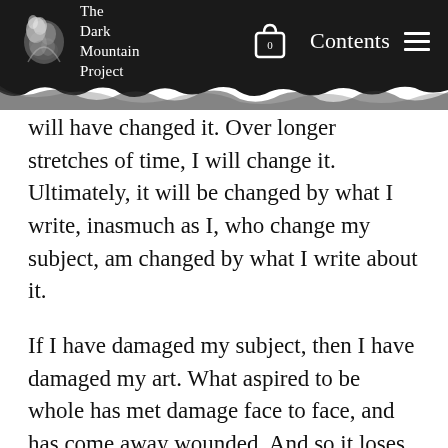The Dark Mountain Project
will have changed it. Over longer stretches of time, I will change it. Ultimately, it will be changed by what I write, inasmuch as I, who change my subject, am changed by what I write about it.
If I have damaged my subject, then I have damaged my art. What aspired to be whole has met damage face to face, and has come away wounded. And so it loses interest both in the anesthetic and in the